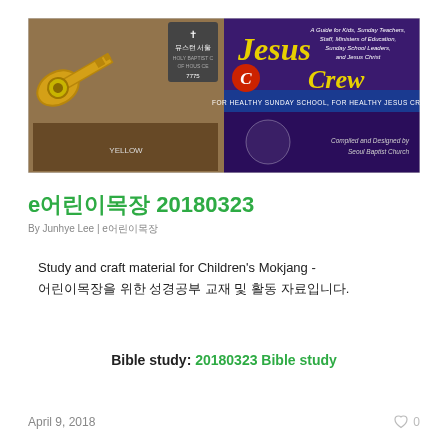[Figure (illustration): Banner image with two panels: left panel shows Korean church-related illustrations with keys and people, text '뮤스턴 서울' and church address; right panel shows 'Jesus Crew' text on purple background with subtitle 'FOR HEALTHY SUNDAY SCHOOL, FOR HEALTHY JESUS CREW' and 'Compiled and Designed by Seoul Baptist Church']
e어린이목장 20180323
By Junhye Lee | e어린이목장
Study and craft material for Children's Mokjang - 어린이목장을 위한 성경공부 교재 및 활동 자료입니다.
Bible study: 20180323 Bible study
April 9, 2018   ♡ 0